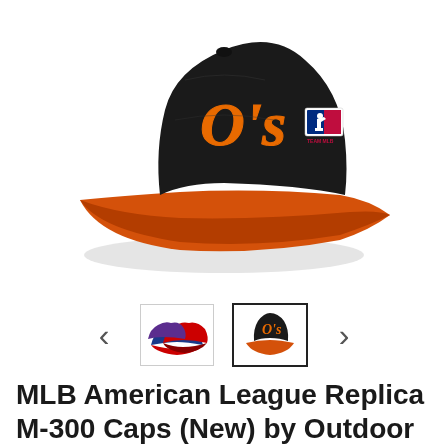[Figure (photo): Baltimore Orioles black cap with orange brim and orange script O's logo on front, MLB Team logo patch on side, displayed on white background]
[Figure (photo): Thumbnail carousel showing two cap thumbnails with left and right navigation arrows. Left thumbnail shows multiple colored caps grouped together. Right thumbnail (active/selected) shows the orange-brimmed black Orioles cap. Navigation arrows on far left and far right.]
MLB American League Replica M-300 Caps (New) by Outdoor Cap